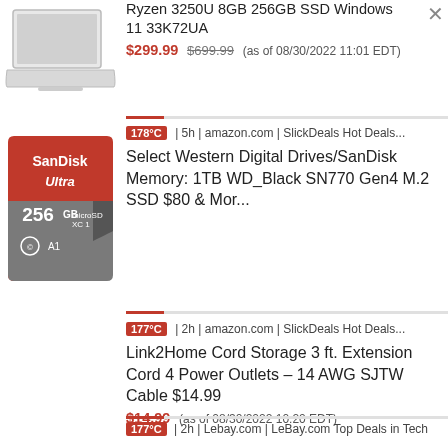[Figure (photo): Laptop computer, silver, partially visible, top portion cut off]
Ryzen 3250U 8GB 256GB SSD Windows 11 33K72UA
$299.99 $699.99 (as of 08/30/2022 11:01 EDT)
[Figure (photo): SanDisk Ultra 256GB microSD XC1 A1 memory card — red and gray card]
178°C | 5h | amazon.com | SlickDeals Hot Deals...
Select Western Digital Drives/SanDisk Memory: 1TB WD_Black SN770 Gen4 M.2 SSD $80 & Mor...
177°C | 2h | amazon.com | SlickDeals Hot Deals...
Link2Home Cord Storage 3 ft. Extension Cord 4 Power Outlets – 14 AWG SJTW Cable $14.99
$14.99 (as of 08/30/2022 10:20 EDT)
177°C | 2h | Lebay.com | LeBay.com Top Deals in Tech